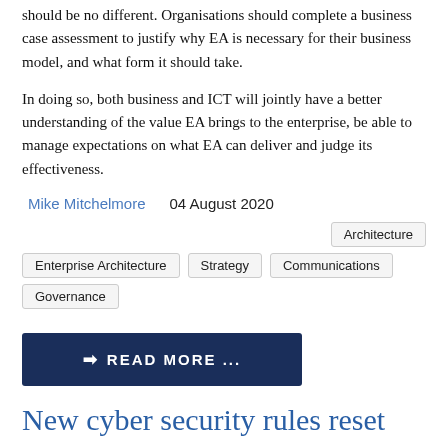should be no different. Organisations should complete a business case assessment to justify why EA is necessary for their business model, and what form it should take.
In doing so, both business and ICT will jointly have a better understanding of the value EA brings to the enterprise, be able to manage expectations on what EA can deliver and judge its effectiveness.
Mike Mitchelmore   04 August 2020
Architecture
Enterprise Architecture
Strategy
Communications
Governance
❯ READ MORE ...
New cyber security rules reset